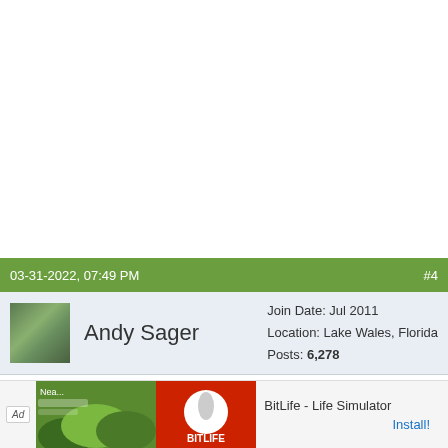03-31-2022, 07:49 PM  #4
Andy Sager
Join Date: Jul 2011
Location: Lake Wales, Florida
Posts: 6,278
Quote:
Originally posted by ...
If th... ...ise
ther...
[Figure (screenshot): Ad banner for BitLife - Life Simulator with green plant imagery and red app icon. Install button visible.]